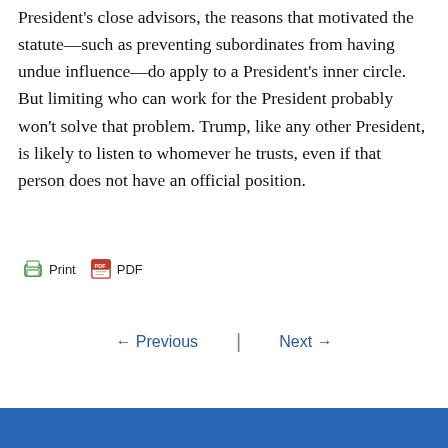President's close advisors, the reasons that motivated the statute—such as preventing subordinates from having undue influence—do apply to a President's inner circle. But limiting who can work for the President probably won't solve that problem. Trump, like any other President, is likely to listen to whomever he trusts, even if that person does not have an official position.
[Figure (other): Print and PDF buttons with icons]
← Previous | Next →